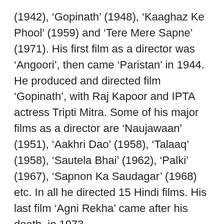(1942), ‘Gopinath’ (1948), ‘Kaaghaz Ke Phool’ (1959) and ‘Tere Mere Sapne’ (1971). His first film as a director was ‘Angoori’, then came ‘Paristan’ in 1944. He produced and directed film ‘Gopinath’, with Raj Kapoor and IPTA actress Tripti Mitra. Some of his major films as a director are ‘Naujawaan’ (1951), ‘Aakhri Dao’ (1958), ‘Talaaq’ (1958), ‘Sautela Bhai’ (1962), ‘Palki’ (1967), ‘Sapnon Ka Saudagar’ (1968) etc. In all he directed 15 Hindi films. His last film ‘Agni Rekha’ came after his death, in 1973.
The music director for this film was GM Durrani and the lyricist was Rammurty Chaturvedi. Earlier, when the film was planned and an advertisement was published in ‘Film India’ magazine, the film had given the name of Pt. Indra as the lyricist, but later on probably he was replaced by Rammurty. The cast of the film was Ulhas, Kaushalya, Dar Maut ti Mela b Cha dra ba Su ma PR Amba la